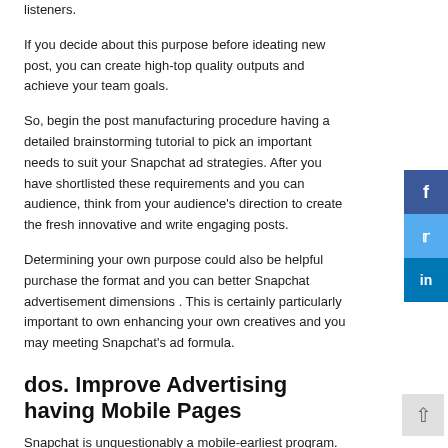listeners.
If you decide about this purpose before ideating new post, you can create high-top quality outputs and achieve your team goals.
So, begin the post manufacturing procedure having a detailed brainstorming tutorial to pick an important needs to suit your Snapchat ad strategies. After you have shortlisted these requirements and you can audience, think from your audience’s direction to create the fresh innovative and write engaging posts.
Determining your own purpose could also be helpful purchase the format and you can better Snapchat advertisement dimensions . This is certainly particularly important to own enhancing your own creatives and you may meeting Snapchat’s ad formula.
dos. Improve Advertising having Mobile Pages
Snapchat is unquestionably a mobile-earliest program. If for example